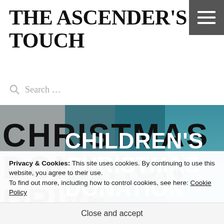THE ASCENDER'S TOUCH
Search ...
[Figure (photo): Hero image with overlapping text: 'CHRISTMAS DONATION DRIVE' in bold black on grey/teal background, overlaid by 'CHILDREN'S CHRISTMAS DONATION DRIVE' in white bold text on a dark teal panel]
Privacy & Cookies: This site uses cookies. By continuing to use this website, you agree to their use.
To find out more, including how to control cookies, see here: Cookie Policy
Close and accept